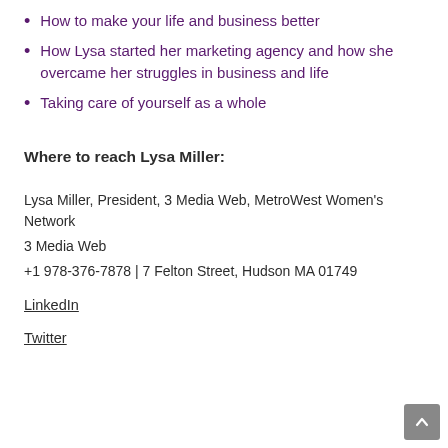How to make your life and business better
How Lysa started her marketing agency and how she overcame her struggles in business and life
Taking care of yourself as a whole
Where to reach Lysa Miller:
Lysa Miller, President, 3 Media Web, MetroWest Women's Network
3 Media Web
+1 978-376-7878 | 7 Felton Street, Hudson MA 01749
LinkedIn
Twitter